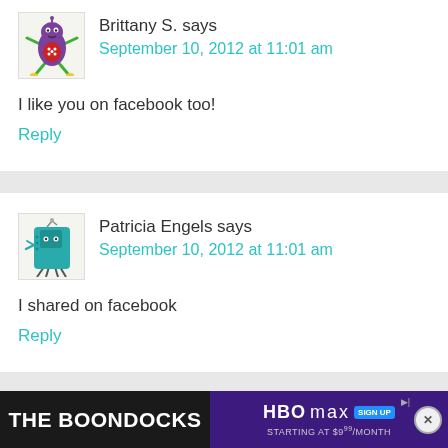[Figure (illustration): Avatar image of Brittany S. - cartoon bug/monster character with purple body, red chest, green arms and legs]
Brittany S. says
September 10, 2012 at 11:01 am
I like you on facebook too!
Reply
[Figure (illustration): Avatar image of Patricia Engels - cartoon teal/turquoise square robot character with antenna and legs]
Patricia Engels says
September 10, 2012 at 11:01 am
I shared on facebook
Reply
[Figure (other): HBO Max advertisement banner - The Boondocks show, starting at $9.99/month]